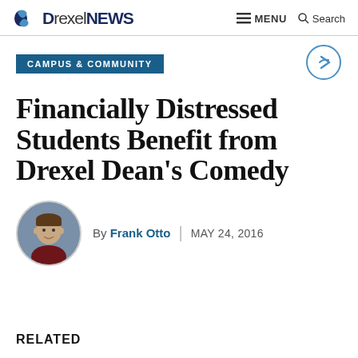Drexel NEWS — MENU Search
CAMPUS & COMMUNITY
Financially Distressed Students Benefit from Drexel Dean's Comedy
By Frank Otto | MAY 24, 2016
RELATED